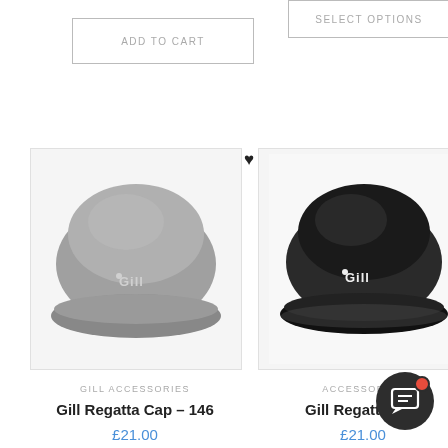[Figure (screenshot): E-commerce product listing page showing two Gill Regatta Cap products with buttons, product images, labels, names and prices]
ADD TO CART
SELECT OPTIONS
[Figure (photo): Gray Gill Regatta Cap - model 146, light gray fabric cap with Gill logo on front]
[Figure (photo): Black Gill Regatta Cap, black fabric cap with white Gill logo on front]
GILL ACCESSORIES
Gill Regatta Cap – 146
£21.00
ACCESSORIES
Gill Regatta Cap
£21.00